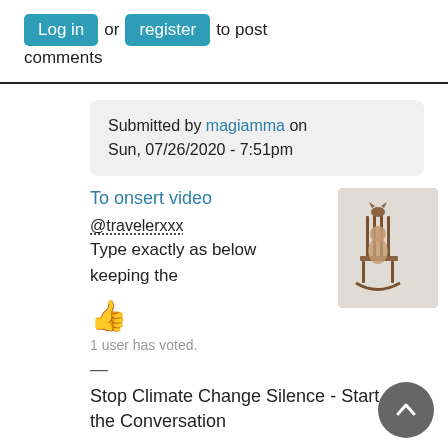Log in or register to post comments
Submitted by magiamma on Sun, 07/26/2020 - 7:51pm
To onsert video
@travelerxxx
Type exactly as below keeping the
[Figure (photo): A bronze sculpture of a figure seated in a rocking chair]
👍
1 user has voted.
—
Stop Climate Change Silence - Start the Conversation